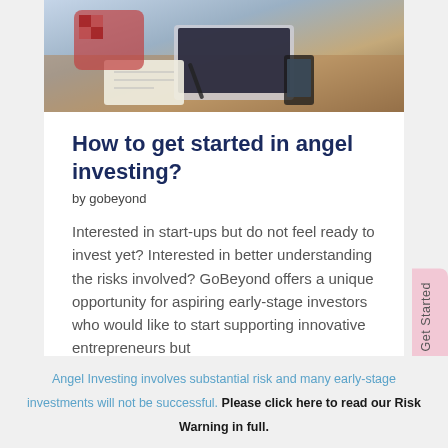[Figure (photo): Photo of a person at a desk with a laptop, notebook, and pen, viewed from above at an angle]
How to get started in angel investing?
by gobeyond
Interested in start-ups but do not feel ready to invest yet? Interested in better understanding the risks involved? GoBeyond offers a unique opportunity for aspiring early-stage investors who would like to start supporting innovative entrepreneurs but
Angel Investing involves substantial risk and many early-stage investments will not be successful. Please click here to read our Risk Warning in full.